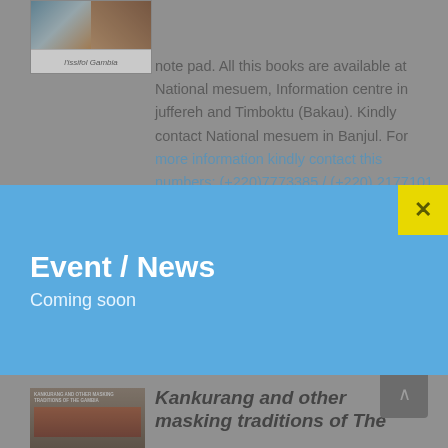[Figure (photo): Book cover with travel photos at top and italic title text]
note pad. All this books are available at National mesuem, Information centre in juffereh and Timboktu (Bakau). Kindly contact National mesuem in Banjul. For more information kindly contact this numbers: (+220)7773385 / (+220) 2177101
Add to cart  Details
[Figure (photo): Book cover: Kankurang and other masking traditions of The Gambia]
Kankurang and other masking traditions of The
Event / News
Coming soon